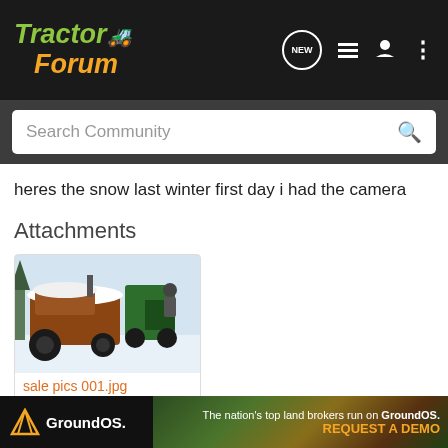TractorForum
Search Community
heres the snow last winter first day i had the camera
Attachments
[Figure (photo): Snow-covered old tractor parked outdoors in winter, with green tractors visible in the background]
sale pics 001.jpg
333 KB
[Figure (infographic): GroundOS advertisement banner: The nation's top land brokers run on GroundOS. REQUEST A DEMO]